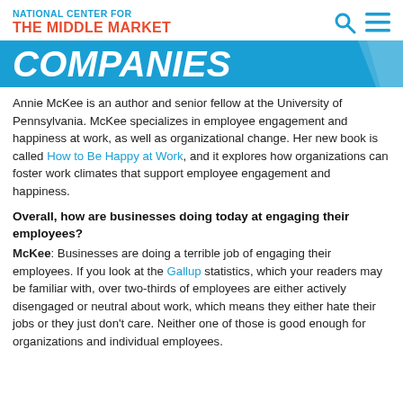NATIONAL CENTER FOR THE MIDDLE MARKET
COMPANIES
Annie McKee is an author and senior fellow at the University of Pennsylvania. McKee specializes in employee engagement and happiness at work, as well as organizational change. Her new book is called How to Be Happy at Work, and it explores how organizations can foster work climates that support employee engagement and happiness.
Overall, how are businesses doing today at engaging their employees?
McKee: Businesses are doing a terrible job of engaging their employees. If you look at the Gallup statistics, which your readers may be familiar with, over two-thirds of employees are either actively disengaged or neutral about work, which means they either hate their jobs or they just don't care. Neither one of those is good enough for organizations and individual employees.